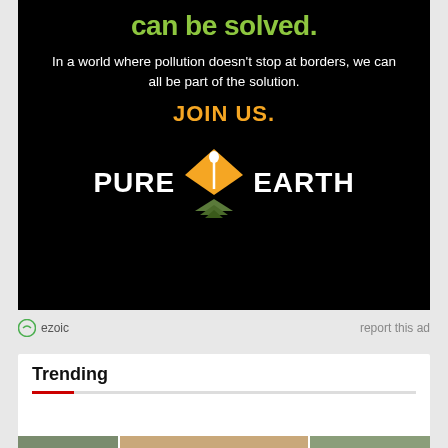[Figure (other): Pure Earth advertisement on black background. Top text in green bold: 'can be solved.' Below in white: 'In a world where pollution doesn't stop at borders, we can all be part of the solution.' Then in orange bold: 'JOIN US.' Pure Earth logo at bottom center with diamond/shovel icon and stacked triangles below.]
ezoic   report this ad
Trending
[Figure (photo): Three thumbnail images side by side showing outdoor/architectural scenes]